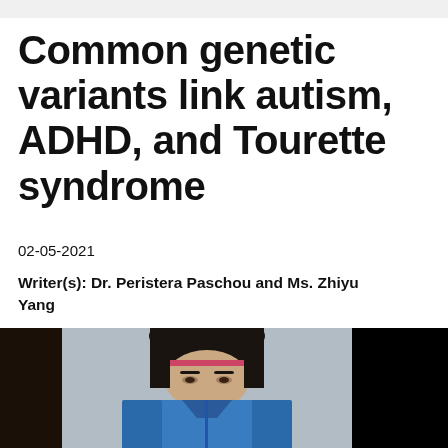Common genetic variants link autism, ADHD, and Tourette syndrome
02-05-2021
Writer(s): Dr. Peristera Paschou and Ms. Zhiyu Yang
[Figure (photo): Photo showing two researchers side by side, one wearing a blue jacket with dark hair and headphones/hair clip, against a grey background. Dark areas flank the center photo.]